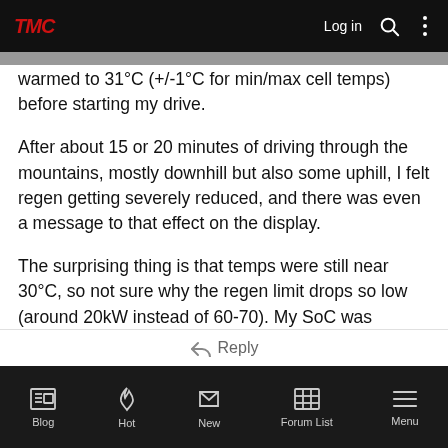TMC  Log in
warmed to 31°C (+/-1°C for min/max cell temps) before starting my drive.
After about 15 or 20 minutes of driving through the mountains, mostly downhill but also some uphill, I felt regen getting severely reduced, and there was even a message to that effect on the display.
The surprising thing is that temps were still near 30°C, so not sure why the regen limit drops so low (around 20kW instead of 60-70). My SoC was around 80% so it's not like my battery was too full to get full regen.
Blog  Hot  New  Forum List  Menu